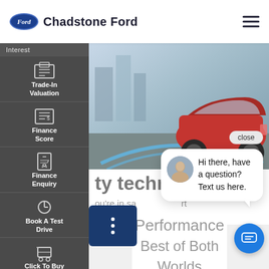Chadstone Ford
[Figure (screenshot): Chadstone Ford dealership website screenshot showing navigation header with Ford logo and Chadstone Ford text, left sidebar with Trade-In Valuation, Finance Score, Finance Enquiry, Book A Test Drive, Click To Buy items, hero image of red Ford vehicle, a chat popup saying 'Hi there, have a question? Text us here.', and Performance Best of Both Worlds text at bottom]
ty technology
ou're in sa
technolog
Hi there, have a question? Text us here.
Performance
Best of Both Worlds